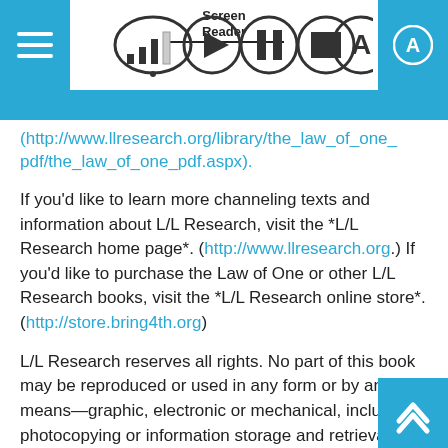[Figure (screenshot): Screen Reader app top navigation bar with menu icon, signal strength, play/pause/stop/A buttons]
(http://www.llresearch.org/library/the_law_of_one_pdf/the_law_of_one_pdf.aspx).
If you'd like to learn more channeling texts and information about L/L Research, visit the *L/L Research home page*. (http://www.llresearch.org.) If you'd like to purchase the Law of One or other L/L Research books, visit the *L/L Research online store*. (http://store.bring4th.org)
L/L Research reserves all rights. No part of this book may be reproduced or used in any form or by any means—graphic, electronic or mechanical, including photocopying or information storage and retrieval systems—without written permission from the copyright holder.